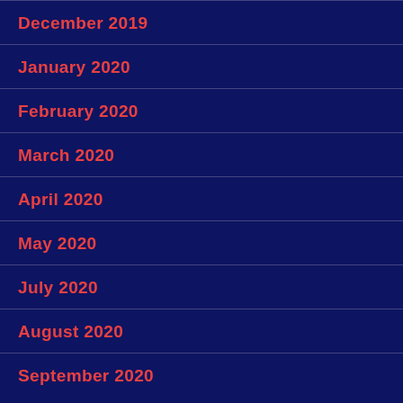December 2019
January 2020
February 2020
March 2020
April 2020
May 2020
July 2020
August 2020
September 2020